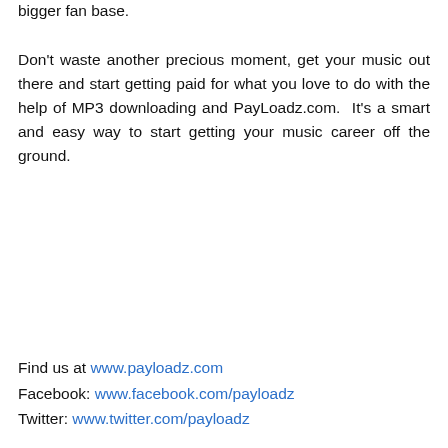bigger fan base.
Don't waste another precious moment, get your music out there and start getting paid for what you love to do with the help of MP3 downloading and PayLoadz.com. It's a smart and easy way to start getting your music career off the ground.
Find us at www.payloadz.com
Facebook: www.facebook.com/payloadz
Twitter: www.twitter.com/payloadz
Tags: Digital Sales , e-commerce , e-store , entertainment , mp3 files , music downloads , musicians , payment processing , selling music
Search Payloadz Blog...